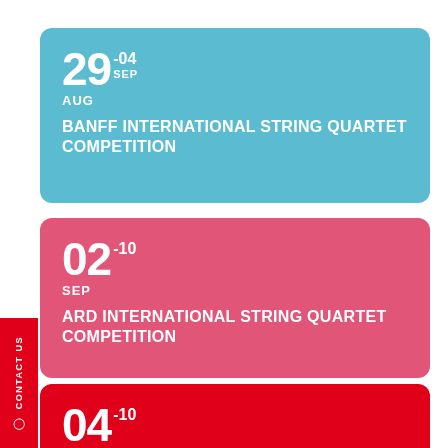29 -04 AUG SEP
BANFF INTERNATIONAL STRING QUARTET COMPETITION
02 -10 SEP
ARD INTERNATIONAL STRING QUARTET COMPETITION
04 -10 SEP
INTERNATIONAL JOHANNES BRAHMS COMPETITION MASTERCLASSES
CONTACT US